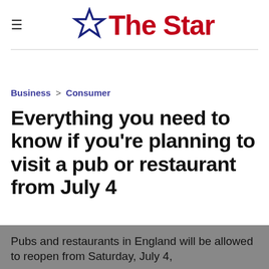The Star
Business > Consumer
Everything you need to know if you're planning to visit a pub or restaurant from July 4
Pubs and restaurants in England will be allowed to reopen from Saturday, July 4,